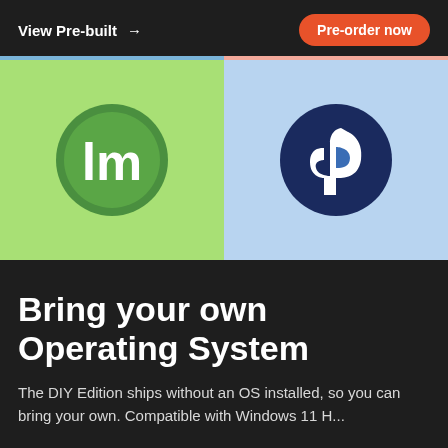View Pre-built →
Pre-order now
[Figure (logo): Linux Mint logo — green circle with white 'lm' letters on light green background]
[Figure (logo): Fedora logo — dark blue circle with white 'f' letter on light blue background]
Bring your own Operating System
The DIY Edition ships without an OS installed, so you can bring your own. Compatible with Windows 11 H...